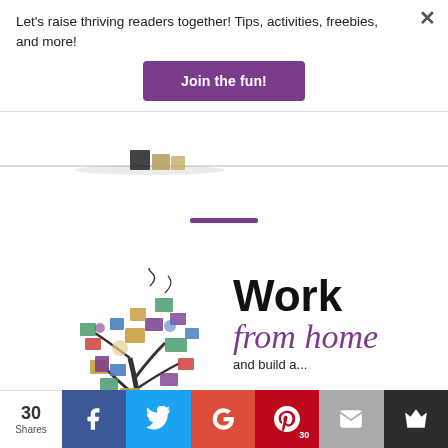Let's raise thriving readers together! Tips, activities, freebies, and more!
Join the fun!
[Figure (illustration): Partial illustration of books/reading theme at top of page near divider line]
[Figure (illustration): Book tree illustration on left side of 'Work from home' section]
Work
from home
and build a...
30
Shares
f
Twitter bird icon
G+
Pinterest P icon, 30
Mail icon
Crown icon